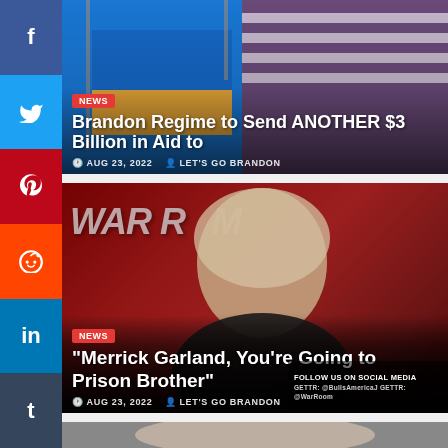[Figure (screenshot): Social media share buttons sidebar: Facebook (blue), Twitter (light blue), Pinterest (red), Reddit (orange-red), LinkedIn (blue), Tumblr (dark blue)]
[Figure (photo): Article 1 header image showing US and Ukraine flags against blue sky]
NEWS
Brandon Regime to Send ANOTHER $3 Billion in Aid to
AUG 23, 2022  LET'S GO BRANDON
[Figure (photo): Article 2 header image showing a man in front of War Room sign with red background]
NEWS
“Merrick Garland, You’re Going to Prison Brother”
AUG 23, 2022  LET'S GO BRANDON
FOLLOW US ON SOCIAL MEDIA
[Figure (photo): Partial view of a third article image at the bottom of the page]